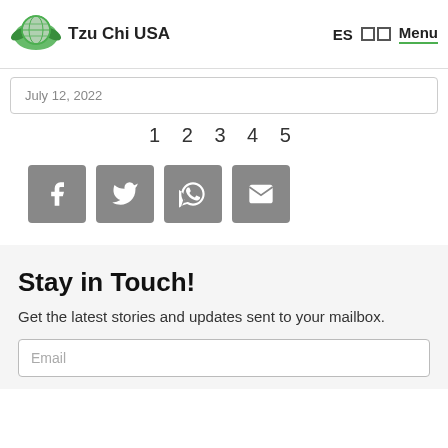Tzu Chi USA   ES   Menu
July 12, 2022
1 2 3 4 5
[Figure (other): Four social share buttons: Facebook, Twitter, WhatsApp, Email]
Stay in Touch!
Get the latest stories and updates sent to your mailbox.
Email